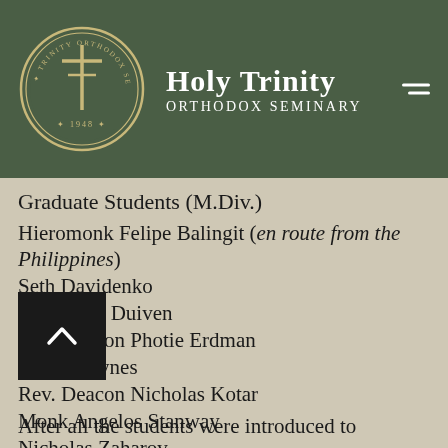Holy Trinity Orthodox Seminary
Graduate Students (M.Div.)
Hieromonk Felipe Balingit (en route from the Philippines)
Seth Davidenko
Alexandre Duiven
Rev. Deacon Photie Erdman
David Haynes
Rev. Deacon Nicholas Kotar
Monk Angelos Stanway
Nicholas Zaharov
After all the students were introduced to